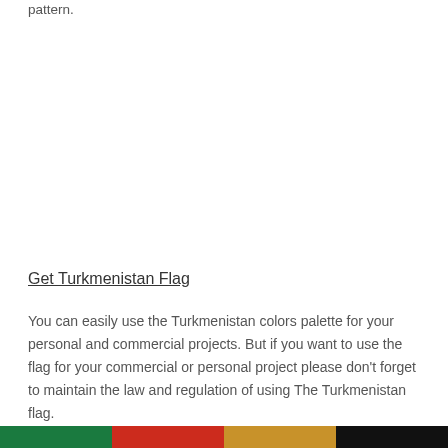pattern.
Get Turkmenistan Flag
You can easily use the Turkmenistan colors palette for your personal and commercial projects. But if you want to use the flag for your commercial or personal project please don't forget to maintain the law and regulation of using The Turkmenistan flag.
[Figure (illustration): A horizontal color bar showing Turkmenistan flag colors: green, red, orange/gold, black segments]